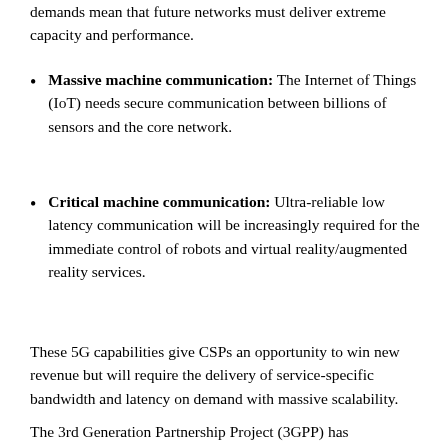demands mean that future networks must deliver extreme capacity and performance.
Massive machine communication: The Internet of Things (IoT) needs secure communication between billions of sensors and the core network.
Critical machine communication: Ultra-reliable low latency communication will be increasingly required for the immediate control of robots and virtual reality/augmented reality services.
These 5G capabilities give CSPs an opportunity to win new revenue but will require the delivery of service-specific bandwidth and latency on demand with massive scalability.
The 3rd Generation Partnership Project (3GPP) has